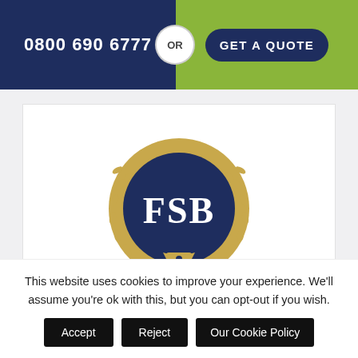0800 690 6777  OR  GET A QUOTE
[Figure (logo): FSB Member logo — circular dark navy badge with gold laurel wreath, FSB text in white, shield with figure at bottom, MEMBER text below in navy]
This website uses cookies to improve your experience. We'll assume you're ok with this, but you can opt-out if you wish.
Accept  Reject  Our Cookie Policy